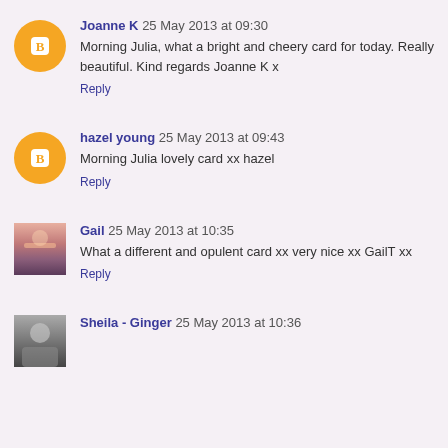Joanne K  25 May 2013 at 09:30
Morning Julia, what a bright and cheery card for today. Really beautiful. Kind regards Joanne K x
Reply
hazel young  25 May 2013 at 09:43
Morning Julia lovely card xx hazel
Reply
Gail  25 May 2013 at 10:35
What a different and opulent card xx very nice xx GailT xx
Reply
Sheila - Ginger  25 May 2013 at 10:36